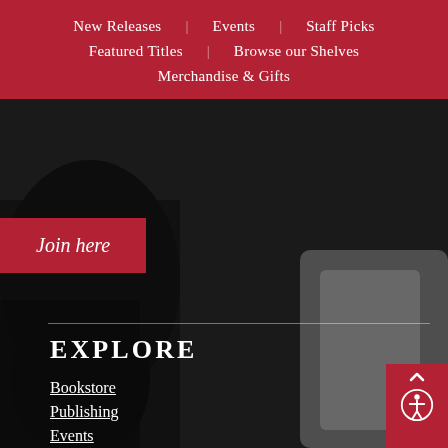New Releases | Events | Staff Picks | Featured Titles | Browse our Shelves | Merchandise & Gifts
Join here
EXPLORE
Bookstore
Publishing
Events
Our Story
Foundation
Blog